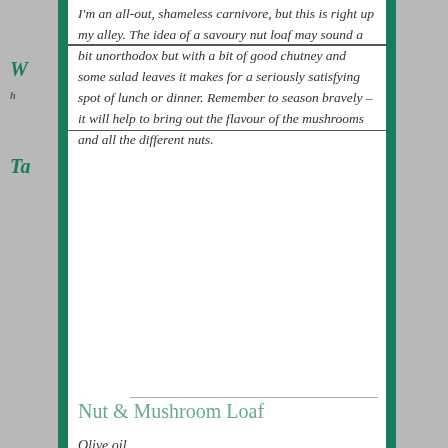I'm an all-out, shameless carnivore, but this is right up my alley. The idea of a savoury nut loaf may sound a bit unorthodox but with a bit of good chutney and some salad leaves it makes for a seriously satisfying spot of lunch or dinner. Remember to season bravely – it will help to bring out the flavour of the mushrooms and all the different nuts.
Nut & Mushroom Loaf
Olive oil...